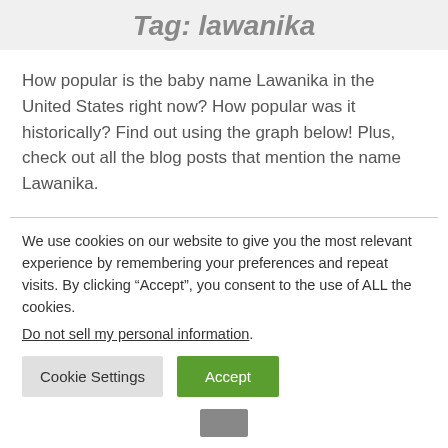Tag: lawanika
How popular is the baby name Lawanika in the United States right now? How popular was it historically? Find out using the graph below! Plus, check out all the blog posts that mention the name Lawanika.
We use cookies on our website to give you the most relevant experience by remembering your preferences and repeat visits. By clicking “Accept”, you consent to the use of ALL the cookies.
Do not sell my personal information.